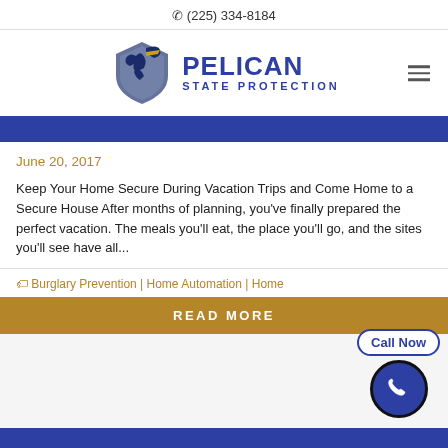(225) 334-8184
[Figure (logo): Pelican State Protection logo with pelican bird and shield graphic]
June 20, 2017
Keep Your Home Secure During Vacation Trips and Come Home to a Secure House After months of planning, you've finally prepared the perfect vacation. The meals you'll eat, the place you'll go, and the sites you'll see have all...
Burglary Prevention | Home Automation | Home
READ MORE